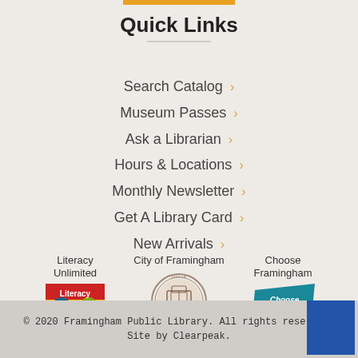Quick Links
Search Catalog >
Museum Passes >
Ask a Librarian >
Hours & Locations >
Monthly Newsletter >
Get A Library Card >
New Arrivals >
[Figure (logo): Literacy Unlimited logo — colorful faces on book]
[Figure (logo): City of Framingham official seal]
[Figure (logo): Choose Framingham logo on teal parallelogram]
© 2020 Framingham Public Library. All rights reserved. Site by Clearpeak.